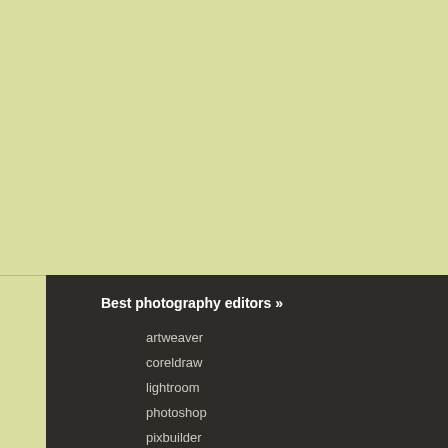[Figure (screenshot): Yellow-green background area at top of page]
Best photography editors »
artweaver
coreldraw
lightroom
photoshop
pixbuilder
Camera »